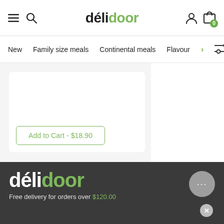délidoor — navigation header with hamburger, search, user, and cart icons
New  Family size meals  Continental meals  Flavour
Add to Cart - $18.90
[Figure (logo): délidoor logo in footer on dark background]
Free delivery for orders over $120.00